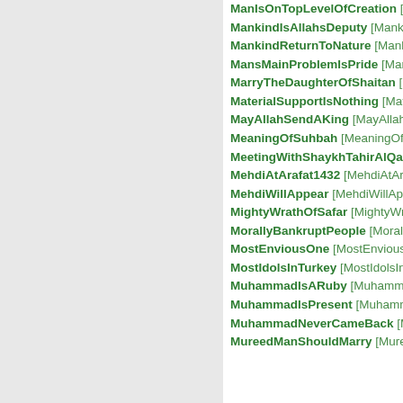ManIsOnTopLevelOfCreation [ManIsOnTopLevelOfCreation]
MankindIsAllahsDeputy [MankindIsAllahsDeputy]
MankindReturnToNature [MankindReturnToNature]
MansMainProblemIsPride [MansMainProblemIsPride]
MarryTheDaughterOfShaitan [MarryTheDaughterOfShaitan]
MaterialSupportIsNothing [MaterialSupportIsNothing]
MayAllahSendAKing [MayAllahSendAKing]
MeaningOfSuhbah [MeaningOfSuhbah]
MeetingWithShaykhTahirAlQadri [MeetingWithShaykhTahirAlQadri]
MehdiAtArafat1432 [MehdiAtArafat1432]
MehdiWillAppear [MehdiWillAppear]
MightyWrathOfSafar [MightyWrathOfSafar]
MorallyBankruptPeople [MorallyBankruptPeople]
MostEnviousOne [MostEnviousOne]
MostIdolsInTurkey [MostIdolsInTurkey]
MuhammadIsARuby [MuhammadIsARuby]
MuhammadIsPresent [MuhammadIsPresent]
MuhammadNeverCameBack [MuhammadNeverCameBack]
MureedManShouldMarry [MureedManShouldMarry]